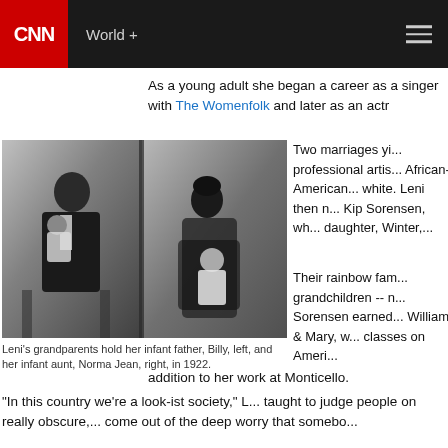CNN | World +
As a young adult she began a career as a singer with The Womenfolk and later as an actr...
[Figure (photo): Black and white photograph from 1922 showing two elderly people holding infant children. Left side shows a man in a suit holding an infant (Billy), right side shows a woman holding an infant (Norma Jean). A watermark reads COURTESY LENI SORENSEN.]
Leni's grandparents hold her infant father, Billy, left, and her infant aunt, Norma Jean, right, in 1922.
Two marriages yi... professional artis... African-American... white. Leni then n... Kip Sorensen, wh... daughter, Winter,...
Their rainbow fam... grandchildren -- n... Sorensen earned... William & Mary, w... classes on Ameri... addition to her work at Monticello.
"In this country we're a look-ist society," L... taught to judge people on really obscure,... come out of the deep worry that somebo... somethin...